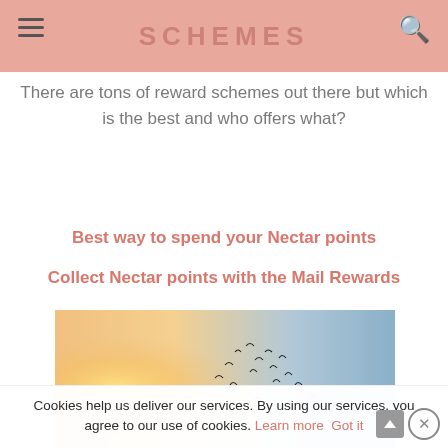SCHEMES
There are tons of reward schemes out there but which is the best and who offers what?
Best way to spend your Nectar points
Collect Nectar points with the Mail Rewards
[Figure (photo): Silhouette of birds flying in a sunset/sunrise sky with warm orange and cool blue gradient tones]
Cookies help us deliver our services. By using our services, you agree to our use of cookies. Learn more Got it